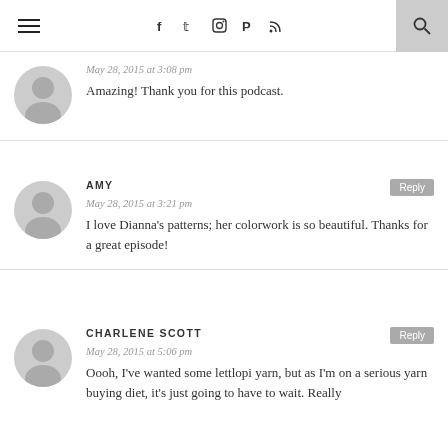Navigation bar with menu, social icons (Facebook, Twitter, Instagram, Pinterest, RSS), and search
May 28, 2015 at 3:08 pm
Amazing! Thank you for this podcast.
AMY
May 28, 2015 at 3:21 pm
I love Dianna's patterns; her colorwork is so beautiful. Thanks for a great episode!
CHARLENE SCOTT
May 28, 2015 at 5:06 pm
Oooh, I've wanted some lettlopi yarn, but as I'm on a serious yarn buying diet, it's just going to have to wait. Really